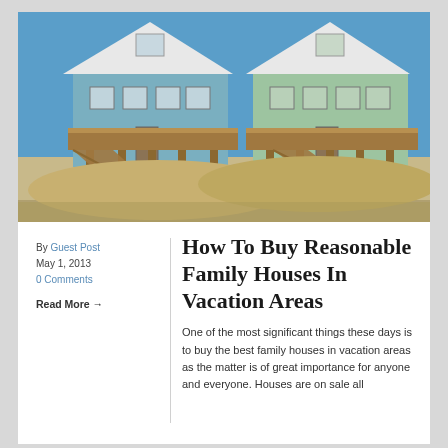[Figure (photo): Two large beach/vacation houses elevated on stilts with wooden staircases, sandy beach in foreground, blue sky background]
By Guest Post
May 1, 2013
0 Comments
Read More →
How To Buy Reasonable Family Houses In Vacation Areas
One of the most significant things these days is to buy the best family houses in vacation areas as the matter is of great importance for anyone and everyone. Houses are on sale all